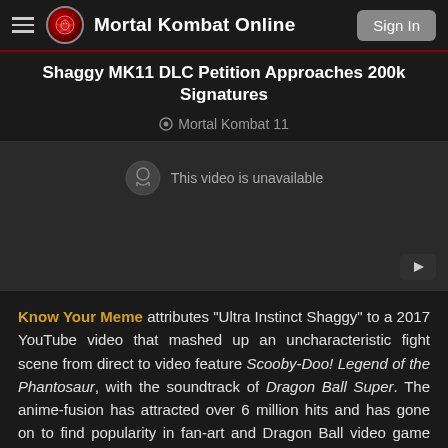Mortal Kombat Online  Sign In
Shaggy MK11 DLC Petition Approaches 200k Signatures
Mortal Kombat 11
[Figure (screenshot): Embedded YouTube video player showing 'This video is unavailable' message on a dark background]
Know Your Meme attributes "Ultra Instinct Shaggy" to a 2017 YouTube video that mashed up an uncharacteristic fight scene from direct to video feature Scooby-Doo! Legend of the Phantosaur, with the soundtrack of Dragon Ball Super. The anime-fusion has attracted over 6 million hits and has gone on to find popularity in fan-art and Dragon Ball video game mods!